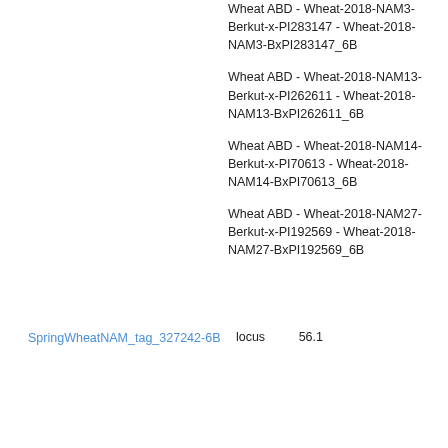Wheat ABD - Wheat-2018-NAM3-Berkut-x-PI283147 - Wheat-2018-NAM3-BxPI283147_6B
Wheat ABD - Wheat-2018-NAM13-Berkut-x-PI262611 - Wheat-2018-NAM13-BxPI262611_6B
Wheat ABD - Wheat-2018-NAM14-Berkut-x-PI70613 - Wheat-2018-NAM14-BxPI70613_6B
SpringWheatNAM_tag_327242-6B
locus
56.1
Wheat ABD - Wheat-2018-NAM27-Berkut-x-PI192569 - Wheat-2018-NAM27-BxPI192569_6B